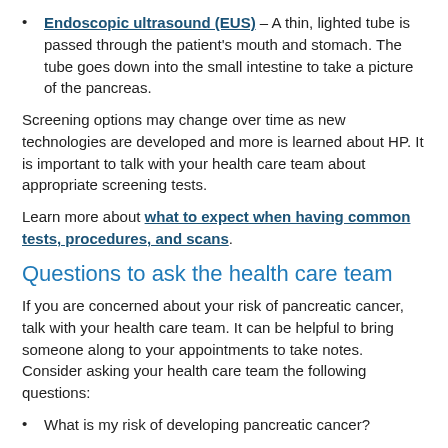Endoscopic ultrasound (EUS) – A thin, lighted tube is passed through the patient's mouth and stomach. The tube goes down into the small intestine to take a picture of the pancreas.
Screening options may change over time as new technologies are developed and more is learned about HP. It is important to talk with your health care team about appropriate screening tests.
Learn more about what to expect when having common tests, procedures, and scans.
Questions to ask the health care team
If you are concerned about your risk of pancreatic cancer, talk with your health care team. It can be helpful to bring someone along to your appointments to take notes. Consider asking your health care team the following questions:
What is my risk of developing pancreatic cancer?
What can I do to reduce my risk of cancer?
What are my options for cancer screening?